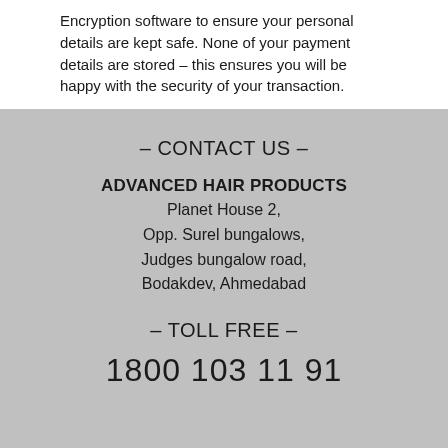Encryption software to ensure your personal details are kept safe. None of your payment details are stored – this ensures you will be happy with the security of your transaction.
– CONTACT US –
ADVANCED HAIR PRODUCTS
Planet House 2,
Opp. Surel bungalows,
Judges bungalow road,
Bodakdev, Ahmedabad
– TOLL FREE –
1800 103 11 91